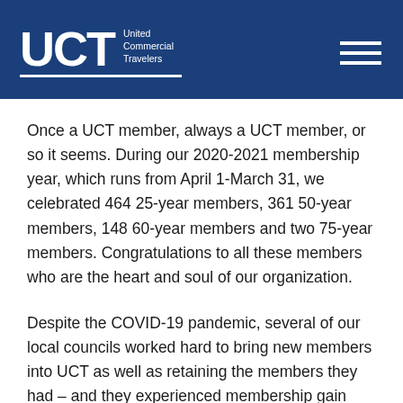UCT United Commercial Travelers
Once a UCT member, always a UCT member, or so it seems. During our 2020-2021 membership year, which runs from April 1-March 31, we celebrated 464 25-year members, 361 50-year members, 148 60-year members and two 75-year members. Congratulations to all these members who are the heart and soul of our organization.
Despite the COVID-19 pandemic, several of our local councils worked hard to bring new members into UCT as well as retaining the members they had – and they experienced membership gain due to their efforts. Congrats to these troopers: